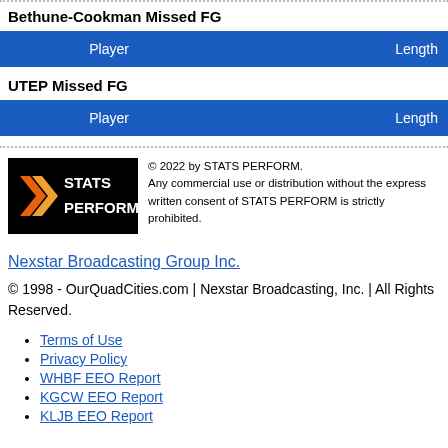Bethune-Cookman Missed FG
| Player | Length |
| --- | --- |
UTEP Missed FG
| Player | Length |
| --- | --- |
[Figure (logo): STATS PERFORM logo on black background with orange/red chevron graphic]
© 2022 by STATS PERFORM. Any commercial use or distribution without the express written consent of STATS PERFORM is strictly prohibited.
Nexstar Broadcasting Group Inc.
© 1998 - OurQuadCities.com | Nexstar Broadcasting, Inc. | All Rights Reserved.
Terms of Use
Privacy Policy
WHBF EEO Report
KGCW EEO Report
KLJB EEO Report